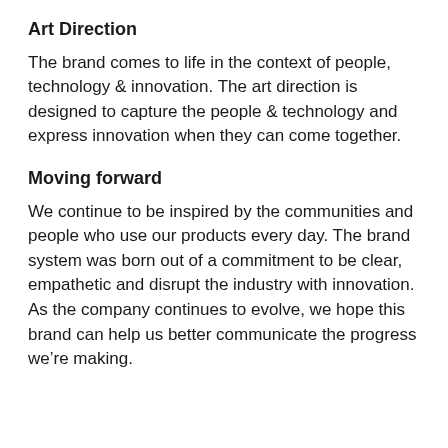Art Direction
The brand comes to life in the context of people, technology & innovation. The art direction is designed to capture the people & technology and express innovation when they can come together.
Moving forward
We continue to be inspired by the communities and people who use our products every day. The brand system was born out of a commitment to be clear, empathetic and disrupt the industry with innovation. As the company continues to evolve, we hope this brand can help us better communicate the progress we’re making.